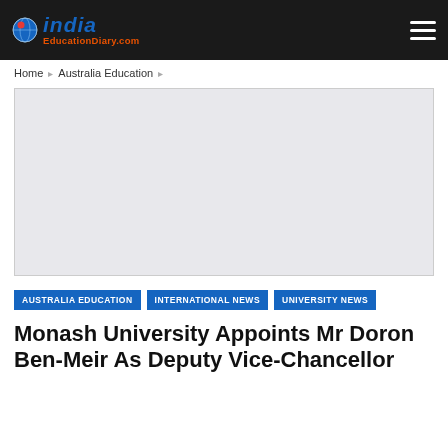India EducationDiary.com
Home > Australia Education >
[Figure (photo): Large rectangular image placeholder with light grey background, likely a photo related to the article about Monash University.]
AUSTRALIA EDUCATION
INTERNATIONAL NEWS
UNIVERSITY NEWS
Monash University Appoints Mr Doron Ben-Meir As Deputy Vice-Chancellor